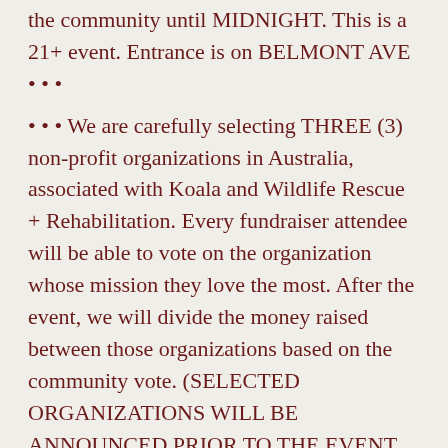the community until MIDNIGHT. This is a 21+ event. Entrance is on BELMONT AVE • • •
• • • We are carefully selecting THREE (3) non-profit organizations in Australia, associated with Koala and Wildlife Rescue + Rehabilitation. Every fundraiser attendee will be able to vote on the organization whose mission they love the most. After the event, we will divide the money raised between those organizations based on the community vote. (SELECTED ORGANIZATIONS WILL BE ANNOUNCED PRIOR TO THE EVENT. ADDITIONALLY, WE WILL BE ABLE TO ACCEPT CHECKS AND ACCOMMODATE ONLINE DONATIONS FOR THOSE ORGANIZATIONS AT THE EVENT). • • •
• • • Donations of $1-100+ (sliding scale) accepted at door